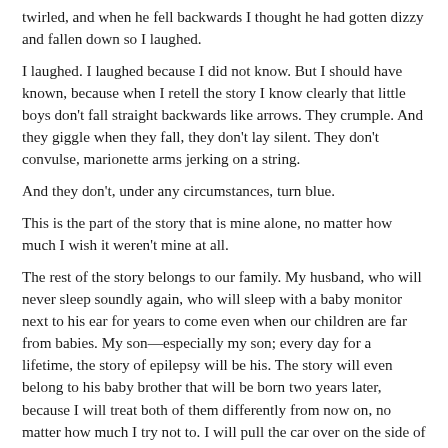twirled, and when he fell backwards I thought he had gotten dizzy and fallen down so I laughed.
I laughed. I laughed because I did not know. But I should have known, because when I retell the story I know clearly that little boys don't fall straight backwards like arrows. They crumple. And they giggle when they fall, they don't lay silent. They don't convulse, marionette arms jerking on a string.
And they don't, under any circumstances, turn blue.
This is the part of the story that is mine alone, no matter how much I wish it weren't mine at all.
The rest of the story belongs to our family. My husband, who will never sleep soundly again, who will sleep with a baby monitor next to his ear for years to come even when our children are far from babies. My son—especially my son; every day for a lifetime, the story of epilepsy will be his. The story will even belong to his baby brother that will be born two years later, because I will treat both of them differently from now on, no matter how much I try not to. I will pull the car over on the side of the road if someone doesn't answer quickly enough. I will hold my hands above their mouths, their noses, while they are sleeping to feel their warm, moist breath on my fingers. I will make them wear helmets on their tricycles. and